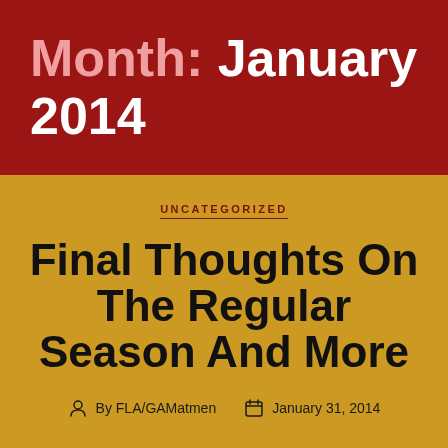Month: January 2014
UNCATEGORIZED
Final Thoughts On The Regular Season And More
By FLA/GAMatmen   January 31, 2014